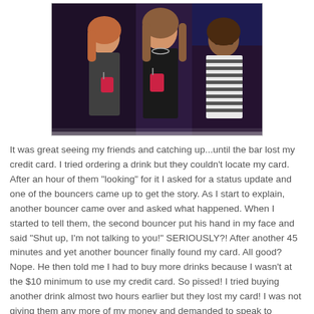[Figure (photo): Three women holding red drinks at a bar, posing for a photo. Dark/purple bar background. Woman on right wearing striped shirt.]
It was great seeing my friends and catching up...until the bar lost my credit card. I tried ordering a drink but they couldn't locate my card. After an hour of them "looking" for it I asked for a status update and one of the bouncers came up to get the story. As I start to explain, another bouncer came over and asked what happened. When I started to tell them, the second bouncer put his hand in my face and said "Shut up, I'm not talking to you!" SERIOUSLY?! After another 45 minutes and yet another bouncer finally found my card. All good? Nope. He then told me I had to buy more drinks because I wasn't at the $10 minimum to use my credit card. So pissed! I tried buying another drink almost two hours earlier but they lost my card! I was not giving them any more of my money and demanded to speak to someone in charge and eventually the owner heard my story and comped my huge $8.50 bill.